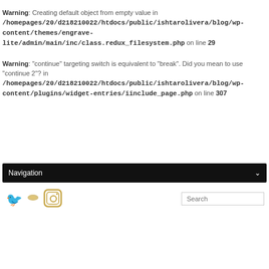Warning: Creating default object from empty value in /homepages/20/d218210022/htdocs/public/ishtarolivera/blog/wp-content/themes/engrave-lite/admin/main/inc/class.redux_filesystem.php on line 29
Warning: "continue" targeting switch is equivalent to "break". Did you mean to use "continue 2"? in /homepages/20/d218210022/htdocs/public/ishtarolivera/blog/wp-content/plugins/widget-entries/iinclude_page.php on line 307
[Figure (screenshot): Navigation bar (black background) with 'Navigation' label and dropdown arrow, followed by social media icons (Twitter bird, decorative, Instagram camera) and a Search input box.]